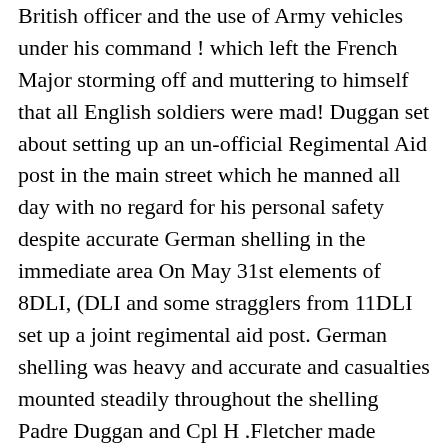British officer and the use of Army vehicles under his command ! which left the French Major storming off and muttering to himself that all English soldiers were mad! Duggan set about setting up an un-official Regimental Aid post in the main street which he manned all day with no regard for his personal safety despite accurate German shelling in the immediate area On May 31st elements of 8DLI, (DLI and some stragglers from 11DLI set up a joint regimental aid post. German shelling was heavy and accurate and casualties mounted steadily throughout the shelling Padre Duggan and Cpl H .Fletcher made repeated journeys carrying the wounded into the cellars of the nearby chateau, the Padres humour, coolness and courage did wonders for the morale of the Durhams as he carried on regardless despite the ferocity of the German bombardment.. Duggan received a MC - Cpl Fletcher a mention in dispatches (Cited for...